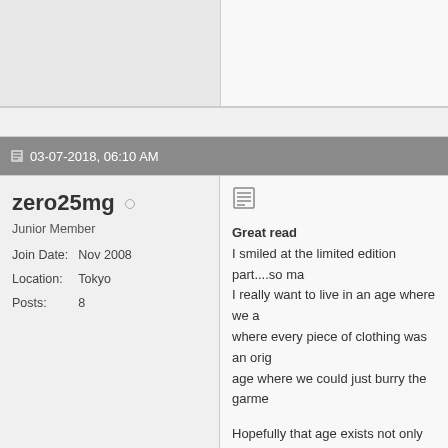03-07-2018, 06:10 AM
zero25mg
Junior Member
Join Date: Nov 2008
Location: Tokyo
Posts: 8
Great read
I smiled at the limited edition part....so ma

I really want to live in an age where we a where every piece of clothing was an orig age where we could just burry the garme

Hopefully that age exists not only in the p

Thanks to SZ we can talk to the tailors be